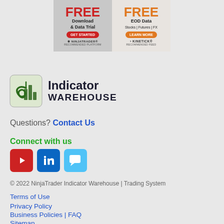[Figure (infographic): Advertisement banner split into two halves. Left: NinjaTrader - FREE Download & Data Trial with GET STARTED button. Right: Kinetick - FREE EOD Data Stocks | Futures | FX with LEARN MORE button.]
[Figure (logo): Indicator Warehouse logo - green snake coiled around chart bars icon with text 'Indicator WAREHOUSE' in dark navy bold font]
Questions? Contact Us
Connect with us
[Figure (infographic): Social media icons: YouTube (red), LinkedIn (blue), Twitter/chat (light blue)]
© 2022 NinjaTrader Indicator Warehouse | Trading System
Terms of Use
Privacy Policy
Business Policies | FAQ
Sitemap